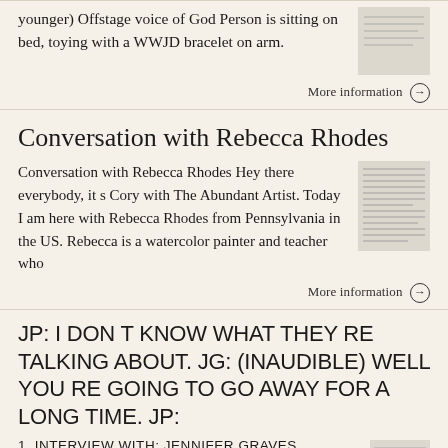younger) Offstage voice of God Person is sitting on bed, toying with a WWJD bracelet on arm.
More information →
Conversation with Rebecca Rhodes
Conversation with Rebecca Rhodes Hey there everybody, it s Cory with The Abundant Artist. Today I am here with Rebecca Rhodes from Pennsylvania in the US. Rebecca is a watercolor painter and teacher who
More information →
JP: I DON T KNOW WHAT THEY RE TALKING ABOUT. JG: (INAUDIBLE) WELL YOU RE GOING TO GO AWAY FOR A LONG TIME. JP:
1 INTERVIEW WITH: JENNIFER GRAVES KIRK GRAVES JOSH ROWELL STEVE